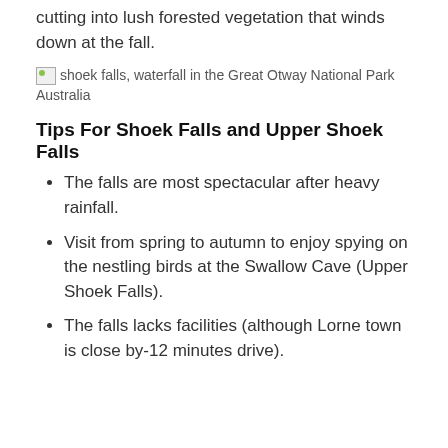cutting into lush forested vegetation that winds down at the fall.
[Figure (photo): Broken image placeholder showing: shoek falls, waterfall in the Great Otway National Park Australia]
Tips For Shoek Falls and Upper Shoek Falls
The falls are most spectacular after heavy rainfall.
Visit from spring to autumn to enjoy spying on the nestling birds at the Swallow Cave (Upper Shoek Falls).
The falls lacks facilities (although Lorne town is close by-12 minutes drive).